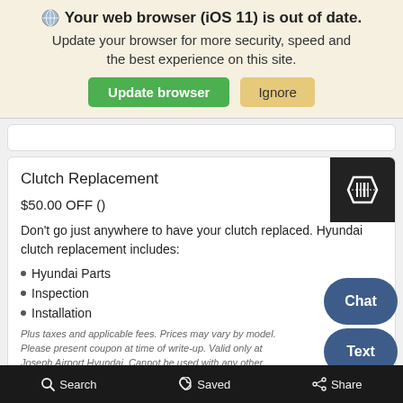🌐 Your web browser (iOS 11) is out of date. Update your browser for more security, speed and the best experience on this site.
Clutch Replacement
$50.00 OFF ()
Don't go just anywhere to have your clutch replaced. Hyundai clutch replacement includes:
Hyundai Parts
Inspection
Installation
Plus taxes and applicable fees. Prices may vary by model. Please present coupon at time of write-up. Valid only at Joseph Airport Hyundai. Cannot be used with any other applicable offer. Hazardous waste fee if applicable. Coupon has no cash value. - Coupon expires 11/01/2022
Search   Saved   Share